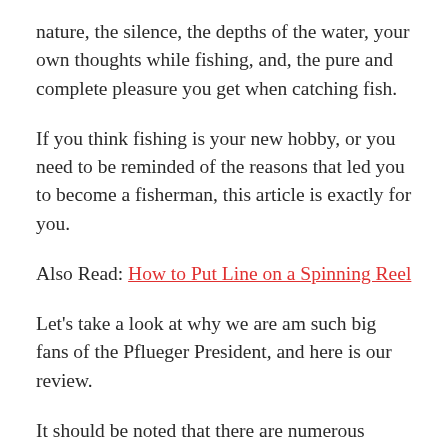nature, the silence, the depths of the water, your own thoughts while fishing, and, the pure and complete pleasure you get when catching fish.
If you think fishing is your new hobby, or you need to be reminded of the reasons that led you to become a fisherman, this article is exactly for you.
Also Read: How to Put Line on a Spinning Reel
Let’s take a look at why we are am such big fans of the Pflueger President, and here is our review.
It should be noted that there are numerous models in the president spinning reel.  Each one is a little bit different and we will try to share everything to help